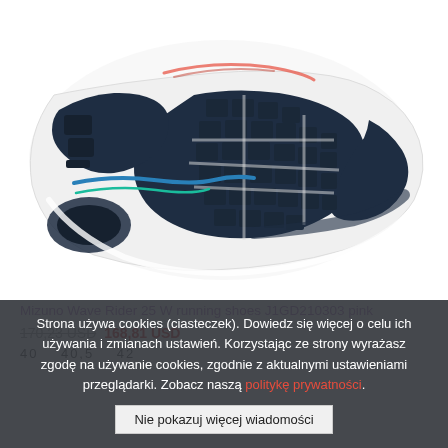[Figure (photo): Bottom sole view of Mizuno Wave Rider 25 W running shoe in pink/white/navy colorway, showing the rubber outsole pattern with wave-shaped grooves and traction pads]
Mizuno Wave Rider 25 W running shoes J1GD210303 pink
170,23 USD 168,81 USD
40   40,5   42
Strona używa cookies (ciasteczek). Dowiedz się więcej o celu ich używania i zmianach ustawień. Korzystając ze strony wyrażasz zgodę na używanie cookies, zgodnie z aktualnymi ustawieniami przeglądarki. Zobacz naszą politykę prywatności.
Nie pokazuj więcej wiadomości